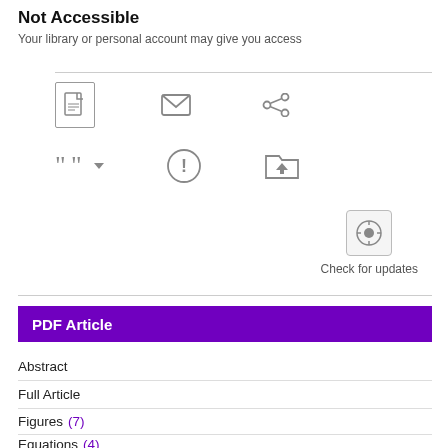Not Accessible
Your library or personal account may give you access
[Figure (screenshot): Toolbar with icons: PDF download, email, share, cite (with dropdown arrow), alert/info, save-to-folder]
[Figure (screenshot): Check for updates button with circular icon]
PDF Article
Abstract
Full Article
Figures (7)
Equations (4)
References (32)